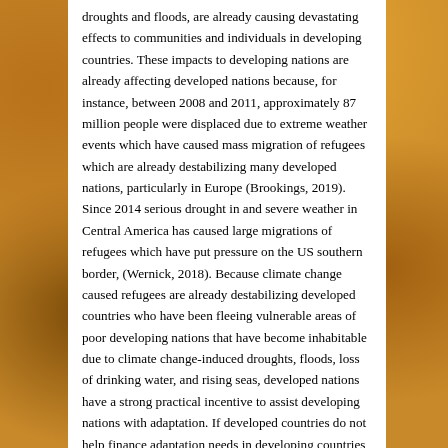droughts and floods, are already causing devastating effects to communities and individuals in developing countries. These impacts to developing nations are already affecting developed nations because, for instance, between 2008 and 2011, approximately 87 million people were displaced due to extreme weather events which have caused mass migration of refugees which are already destabilizing many developed nations, particularly in Europe (Brookings, 2019). Since 2014 serious drought in and severe weather in Central America has caused large migrations of refugees which have put pressure on the US southern border,  (Wernick, 2018). Because climate change caused refugees are already destabilizing developed countries who have been fleeing vulnerable areas of poor developing nations that have become inhabitable due to climate change-induced droughts, floods, loss of drinking water, and rising seas, developed nations have a strong practical incentive to assist developing nations with adaptation. If developed countries do not help finance adaptation needs in developing countries, they will experience growing conflict and stress caused by climate change-induced migration of the 150